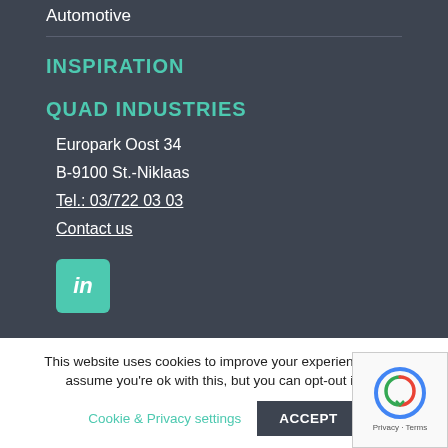Automotive
INSPIRATION
QUAD INDUSTRIES
Europark Oost 34
B-9100 St.-Niklaas
Tel.: 03/722 03 03
Contact us
[Figure (logo): LinkedIn social media icon button in teal/turquoise rounded square]
This website uses cookies to improve your experience. We'll assume you're ok with this, but you can opt-out if you
Cookie & Privacy settings
ACCEPT